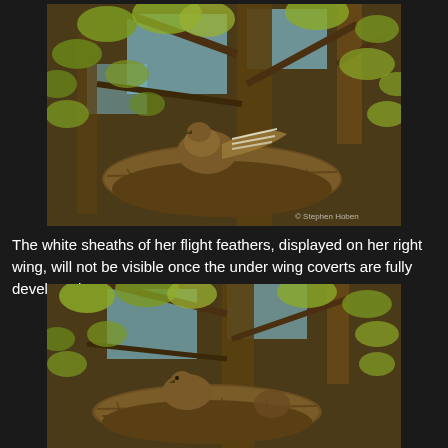[Figure (photo): A bird (hawk or eagle chick) in a large nest made of twigs, situated among tree branches with green leaves and blue sky visible. The bird's wing is extended showing white sheaths on flight feathers.]
The white sheaths of her flight feathers, displayed on her right wing, will not be visible once the under wing coverts are fully developed.
[Figure (photo): A bird (hawk or eagle chick) sitting in a large twig nest in a tree, with green and yellow leaves and tree branches visible against a blue sky background.]